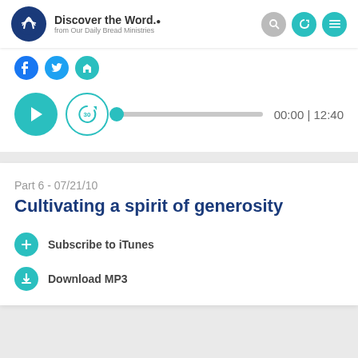Discover the Word. from Our Daily Bread Ministries
[Figure (screenshot): Audio player with play button, 30-second replay button, progress bar, and time display showing 00:00 | 12:40]
Part 6 - 07/21/10
Cultivating a spirit of generosity
Subscribe to iTunes
Download MP3